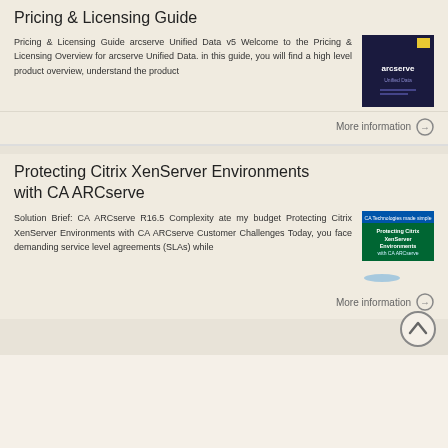Pricing & Licensing Guide
Pricing & Licensing Guide arcserve Unified Data v5 Welcome to the Pricing & Licensing Overview for arcserve Unified Data. in this guide, you will find a high level product overview, understand the product
[Figure (screenshot): Thumbnail image of arcserve Unified Data Pricing & Licensing Guide document cover, dark blue/navy background with arcserve logo]
More information →
Protecting Citrix XenServer Environments with CA ARCserve
Solution Brief: CA ARCserve R16.5 Complexity ate my budget Protecting Citrix XenServer Environments with CA ARCserve Customer Challenges Today, you face demanding service level agreements (SLAs) while
[Figure (screenshot): Thumbnail image of Protecting Citrix XenServer Environments with CA ARCserve solution brief cover, blue/green background]
More information →